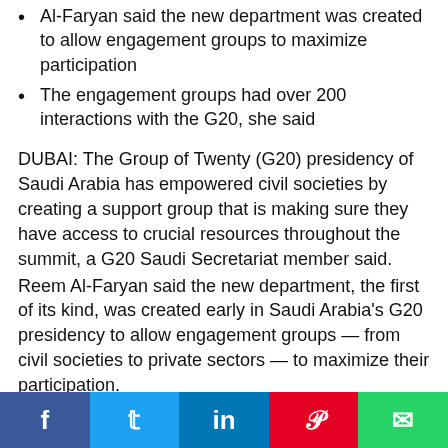Al-Faryan said the new department was created to allow engagement groups to maximize participation
The engagement groups had over 200 interactions with the G20, she said
DUBAI: The Group of Twenty (G20) presidency of Saudi Arabia has empowered civil societies by creating a support group that is making sure they have access to crucial resources throughout the summit, a G20 Saudi Secretariat member said.
Reem Al-Faryan said the new department, the first of its kind, was created early in Saudi Arabia's G20 presidency to allow engagement groups — from civil societies to private sectors — to maximize their participation.
“The role of our team was to provide them with access to information and meetings,” she added.
Al-Faryan, who spoke at a briefing ahead of the Leaders’ Summit in Riyadh, said the Saudi G20 presidency has placed a high value on providing engagement groups access to G20 discussions.
“If you want to empower them, give them access to the discussion table,” she said.
The engagement groups had over 200 interactions with the G20, which incl... hosted by...